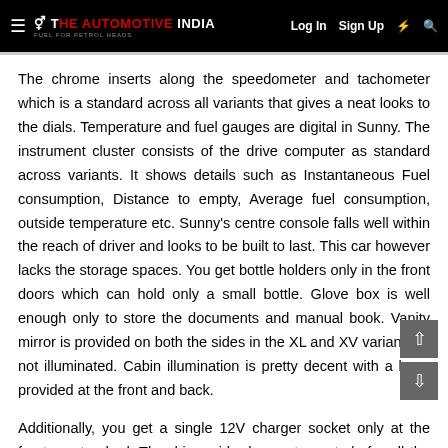THE AUTOMOTIVE INDIA | Log In  Sign Up
The chrome inserts along the speedometer and tachometer which is a standard across all variants that gives a neat looks to the dials. Temperature and fuel gauges are digital in Sunny. The instrument cluster consists of the drive computer as standard across variants. It shows details such as Instantaneous Fuel consumption, Distance to empty, Average fuel consumption, outside temperature etc. Sunny's centre console falls well within the reach of driver and looks to be built to last. This car however lacks the storage spaces. You get bottle holders only in the front doors which can hold only a small bottle. Glove box is well enough only to store the documents and manual book. Vanity mirror is provided on both the sides in the XL and XV variant but not illuminated. Cabin illumination is pretty decent with a lamp provided at the front and back.
Additionally, you get a single 12V charger socket only at the front as standard. The driver side door gets controls for all the windows and the